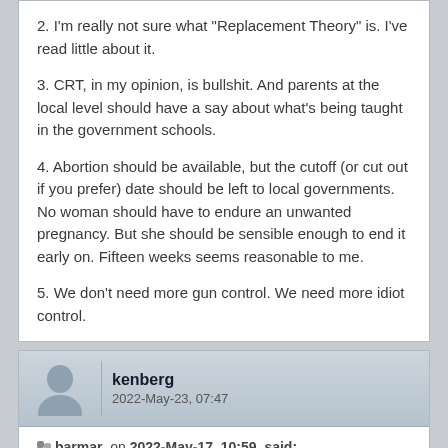2. I'm really not sure what "Replacement Theory" is. I've read little about it.
3. CRT, in my opinion, is bullshit. And parents at the local level should have a say about what's being taught in the government schools.
4. Abortion should be available, but the cutoff (or cut out if you prefer) date should be left to local governments. No woman should have to endure an unwanted pregnancy. But she should be sensible enough to end it early on. Fifteen weeks seems reasonable to me.
5. We don't need more gun control. We need more idiot control.
kenberg
2022-May-23, 07:47
barmar, on 2022-May-17, 10:59, said:
What do you think about the sanity of R's who believe, and make legislative policy based on: